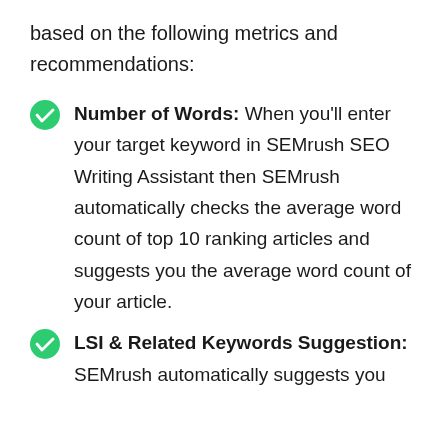based on the following metrics and recommendations:
Number of Words: When you’ll enter your target keyword in SEMrush SEO Writing Assistant then SEMrush automatically checks the average word count of top 10 ranking articles and suggests you the average word count of your article.
LSI & Related Keywords Suggestion: SEMrush automatically suggests you